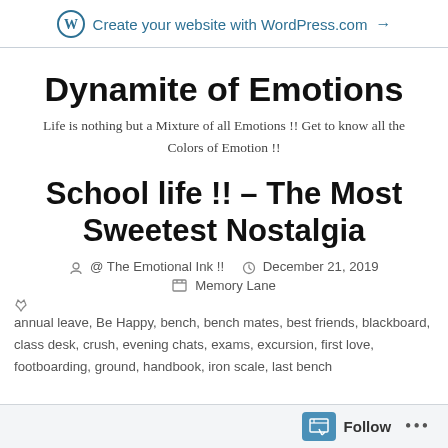Create your website with WordPress.com →
Dynamite of Emotions
Life is nothing but a Mixture of all Emotions !! Get to know all the Colors of Emotion !!
School life !! – The Most Sweetest Nostalgia
@ The Emotional Ink !!   December 21, 2019   Memory Lane
annual leave, Be Happy, bench, bench mates, best friends, blackboard, class desk, crush, evening chats, exams, excursion, first love, footboarding, ground, handbook, iron scale, last bench